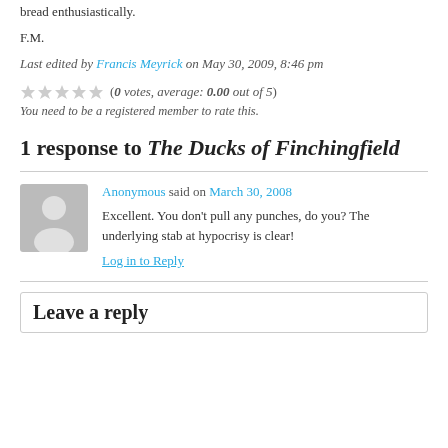bread enthusiastically.
F.M.
Last edited by Francis Meyrick on May 30, 2009, 8:46 pm
(0 votes, average: 0.00 out of 5)
You need to be a registered member to rate this.
1 response to The Ducks of Finchingfield
Anonymous said on March 30, 2008
Excellent. You don’t pull any punches, do you? The underlying stab at hypocrisy is clear!
Log in to Reply
Leave a reply